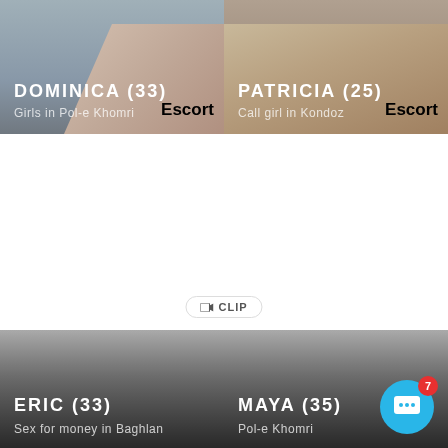[Figure (photo): Top-left card showing legs photo with name DOMINICA (33) and subtitle Girls in Pol-e Khomri, with Escort badge]
[Figure (photo): Top-right card showing floor/legs photo with name PATRICIA (25) and subtitle Call girl in Kondoz, with Escort badge]
CLIP
[Figure (photo): Bottom-left card showing ERIC (33), Sex for money in Baghlan]
[Figure (photo): Bottom-right card showing MAYA (35), Pol-e Khomri]